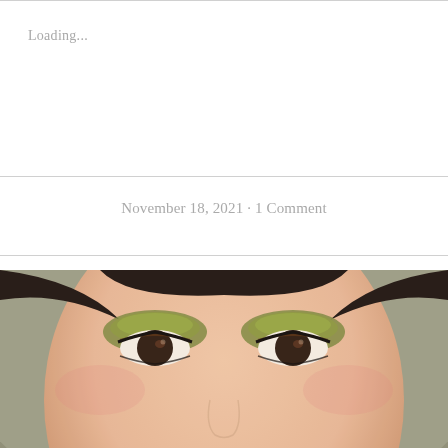Loading...
November 18, 2021 · 1 Comment
[Figure (photo): Close-up photograph of a woman's face with green eyeshadow makeup, dark eyes looking forward, smooth skin, dark hair pulled back]